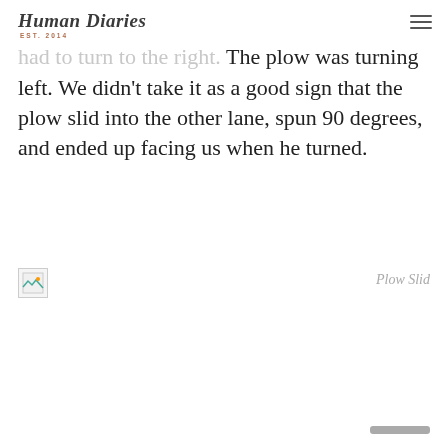Human Diaries EST. 2014
the story, far from it! A few blocks later, we had to turn to the right. The plow was turning left. We didn't take it as a good sign that the plow slid into the other lane, spun 90 degrees, and ended up facing us when he turned.
[Figure (photo): Broken image placeholder with caption 'Plow Slid' on the right]
Plow Slid